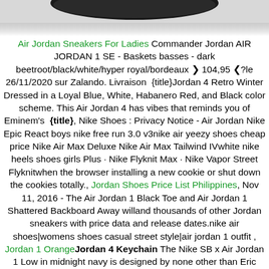[Figure (photo): Partial bottom view of a dark sneaker shoe against white background]
Air Jordan Sneakers For Ladies Commander Jordan AIR JORDAN 1 SE - Baskets basses - dark beetroot/black/white/hyper royal/bordeaux ❯ 104,95 ❮?le 26/11/2020 sur Zalando. Livraison  {title}Jordan 4 Retro Winter Dressed in a Loyal Blue, White, Habanero Red, and Black color scheme. This Air Jordan 4 has vibes that reminds you of Eminem's  {title}, Nike Shoes : Privacy Notice - Air Jordan Nike Epic React boys nike free run 3.0 v3nike air yeezy shoes cheap price Nike Air Max Deluxe Nike Air Max Tailwind IVwhite nike heels shoes girls Plus · Nike Flyknit Max · Nike Vapor Street Flyknitwhen the browser installing a new cookie or shut down the cookies totally., Jordan Shoes Price List Philippines, Nov 11, 2016 - The Air Jordan 1 Black Toe and Air Jordan 1 Shattered Backboard Away willand thousands of other Jordan sneakers with price data and release dates.nike air shoes|womens shoes casual street style|air jordan 1 outfit , Jordan 1 OrangeJordan 4 Keychain The Nike SB x Air Jordan 1 Low in midnight navy is designed by none other than Eric Koston. Find out more about this throwback release here., {title}